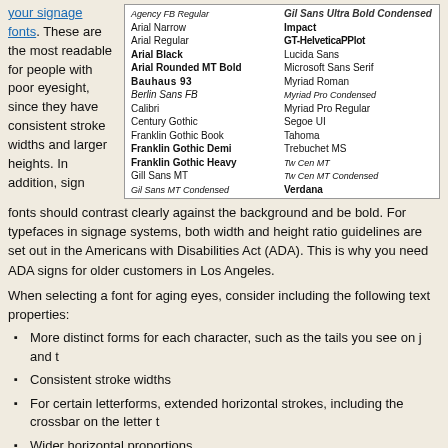your signage fonts. These are the most readable for people with poor eyesight, since they have consistent stroke widths and larger heights. In addition, sign
[Figure (table-as-image): Table listing signage font names in two columns with various typographic styles]
fonts should contrast clearly against the background and be bold. For typefaces in signage systems, both width and height ratio guidelines are set out in the Americans with Disabilities Act (ADA). This is why you need ADA signs for older customers in Los Angeles.
When selecting a font for aging eyes, consider including the following text properties:
More distinct forms for each character, such as the tails you see on j and t
Consistent stroke widths
For certain letterforms, extended horizontal strokes, including the crossbar on the letter t
Wider horizontal proportions
Open counterforms